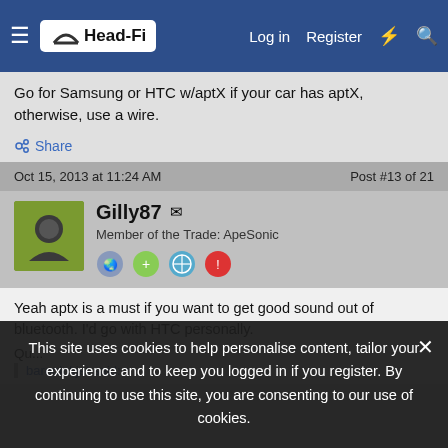Head-Fi — Log in | Register
Go for Samsung or HTC w/aptX if your car has aptX, otherwise, use a wire.
Share
Oct 15, 2013 at 11:24 AM   Post #13 of 21
Gilly87 — Member of the Trade: ApeSonic
Yeah aptx is a must if you want to get good sound out of bluetooth. I'd go with HTC personally.
baroninkjet said: ↑
This site uses cookies to help personalise content, tailor your experience and to keep you logged in if you register. By continuing to use this site, you are consenting to our use of cookies.